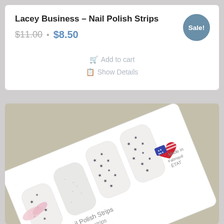Lacey Business – Nail Polish Strips
$11.00 • $8.50
Sale!
Add to cart
Show Details
[Figure (photo): Photo of a Nail Polish Strips package showing white nail strips with navy star pattern, along with a USA flag heart logo and text 'Nail Polish Strips', placed on a furry beige background.]